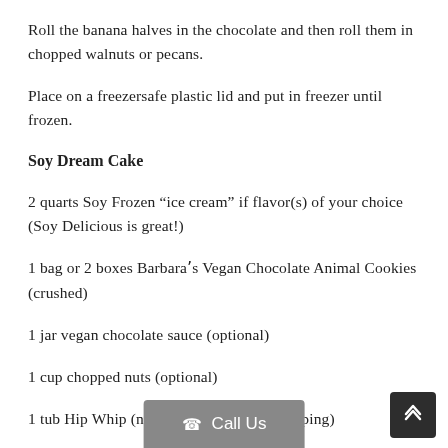Roll the banana halves in the chocolate and then roll them in chopped walnuts or pecans.
Place on a freezersafe plastic lid and put in freezer until frozen.
Soy Dream Cake
2 quarts Soy Frozen “ice cream” if flavor(s) of your choice (Soy Delicious is great!)
1 bag or 2 boxes Barbaraʼs Vegan Chocolate Animal Cookies (crushed)
1 jar vegan chocolate sauce (optional)
1 cup chopped nuts (optional)
1 tub Hip Whip (n… topping)